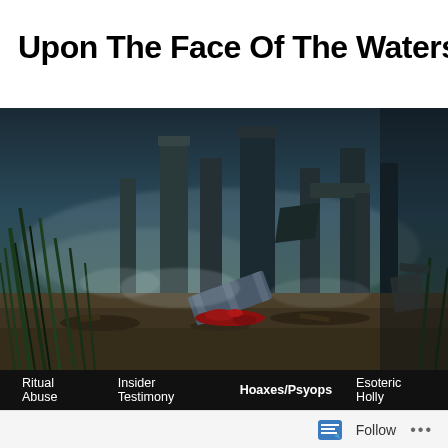Upon The Face Of The Waters
[Figure (illustration): A dramatic post-apocalyptic or fantasy scene showing ruins of ancient columns in a dark atmosphere, with fallen red-clad figure on a desolate ground, dark green foliage in the foreground, and debris scattered around.]
Ritual Abuse  Insider Testimony  Hoaxes/Psyops  Esoteric Holly...
← Was Brittany Murphy Killed By The Illuminati?
Marty Le...
Follow  •••